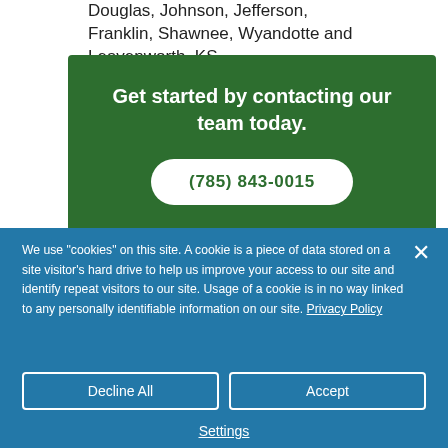Douglas, Johnson, Jefferson, Franklin, Shawnee, Wyandotte and Leavenworth, KS.
[Figure (infographic): Dark green banner with bold white text 'Get started by contacting our team today.' and a white pill-shaped button showing phone number (785) 843-0015]
We use "cookies" on this site. A cookie is a piece of data stored on a site visitor's hard drive to help us improve your access to our site and identify repeat visitors to our site. Usage of a cookie is in no way linked to any personally identifiable information on our site. Privacy Policy
Decline All
Accept
Settings